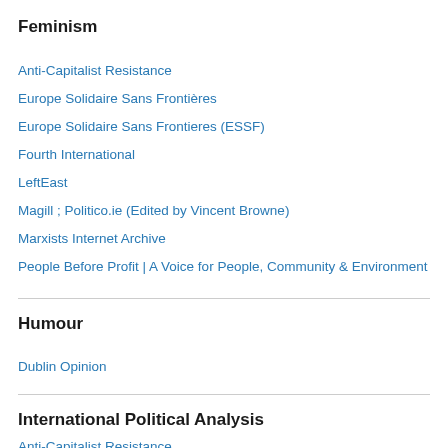Feminism
Anti-Capitalist Resistance
Europe Solidaire Sans Frontières
Europe Solidaire Sans Frontieres (ESSF)
Fourth International
LeftEast
Magill ; Politico.ie (Edited by Vincent Browne)
Marxists Internet Archive
People Before Profit | A Voice for People, Community & Environment
Humour
Dublin Opinion
International Political Analysis
Anti-Capitalist Resistance